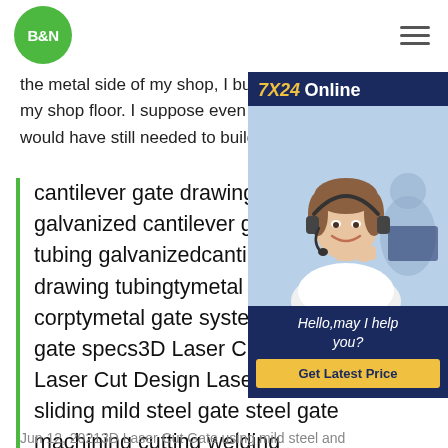[Figure (logo): B&N logo — green circle with white bold text]
the metal side of my shop, I built the e... my shop floor. I suppose even if I had a... would have still needed to build it on th...
[Figure (infographic): 7X24 Online chat widget with customer service representative photo, 'Hello, may I help you?' text, and 'Get Latest Price' button]
cantilever gate drawing tubing galvanized cantilever gate tubing galvanizedcantilever drawing tubingtymetal gate corptymetal gate systemscantilever gate specs3D Laser Cut Gate 3D Laser Cut Design Laser Cut Gates sliding mild steel gate steel gate machining cutting welding
Jun 12, 2021 3D Laser Cut Gate using mild steel and